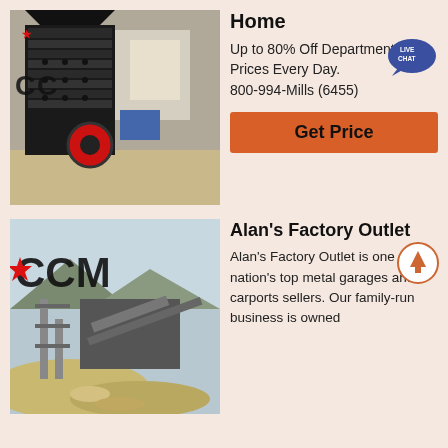[Figure (photo): Industrial impact crusher machine in a factory setting, with CCM branding logo on the left side]
Home
Up to 80% Off Department Store Prices Every Day. 800-994-Mills (6455)
[Figure (other): Live Chat speech bubble icon in dark blue with LIVE CHAT text]
Get Price
[Figure (photo): Mining quarry with CCM branding, showing conveyor belts, gravel piles, and mountainous background]
Alan's Factory Outlet
Alan's Factory Outlet is one of the nation's top metal garages and carports sellers. Our family-run business is owned